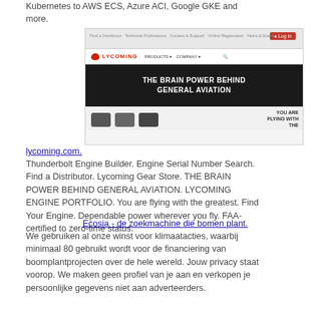Kubernetes to AWS ECS, Azure ACI, Google GKE and more.
[Figure (screenshot): Screenshot of the Lycoming Engines website showing navigation bar, hero image with text 'THE BRAIN POWER BEHIND GENERAL AVIATION', and engine product section below.]
lycoming.com.
Thunderbolt Engine Builder. Engine Serial Number Search. Find a Distributor. Lycoming Gear Store. THE BRAIN POWER BEHIND GENERAL AVIATION. LYCOMING ENGINE PORTFOLIO. You are flying with the greatest. Find Your Engine. Dependable power wherever you fly. FAA-certified to zero-time status.
Ecosia - de zoekmachine die bomen plant.
We gebruiken al onze winst voor klimaatacties, waarbij minimaal 80 gebruikt wordt voor de financiering van boomplantprojecten over de hele wereld. Jouw privacy staat voorop. We maken geen profiel van je aan en verkopen je persoonlijke gegevens niet aan adverteerders.